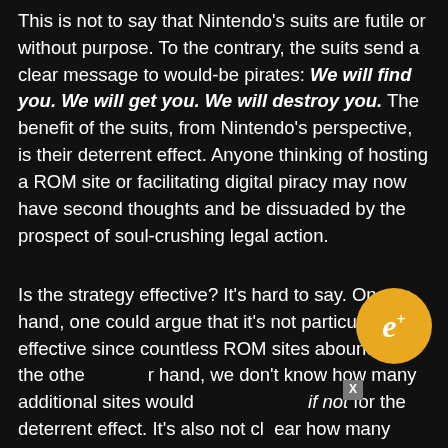This is not to say that Nintendo's suits are futile or without purpose. To the contrary, the suits send a clear message to would-be pirates: We will find you. We will get you. We will destroy you. The benefit of the suits, from Nintendo's perspective, is their deterrent effect. Anyone thinking of hosting a ROM site or facilitating digital piracy may now have second thoughts and be dissuaded by the prospect of soul-crushing legal action.
Is the strategy effective? It's hard to say. On one hand, one could argue that it's not particularly effective since countless ROM sites abound. On the other hand, we don't know how many additional sites would exist if not for the deterrent effect. It's also not clear how many times (if any) Nintendo has leveraged its lawsuits to persuade ROM operators to take down their